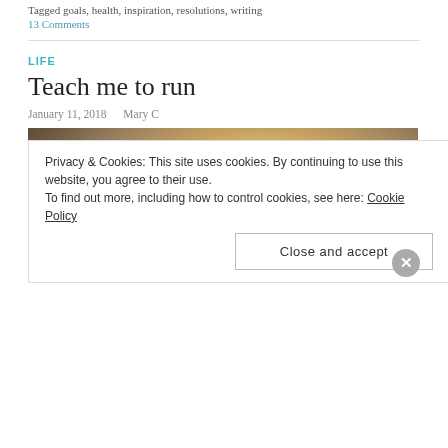Tagged goals, health, inspiration, resolutions, writing
13 Comments
LIFE
Teach me to run
January 11, 2018   Mary C
[Figure (photo): Silhouette of a person running against a bright cloudy sky with golden light breaking through clouds]
Privacy & Cookies: This site uses cookies. By continuing to use this website, you agree to their use.
To find out more, including how to control cookies, see here: Cookie Policy
Close and accept